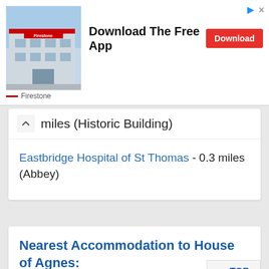[Figure (screenshot): Firestone advertisement banner with building photo, 'Download The Free App' text, and Download button]
miles (Historic Building)
Eastbridge Hospital of St Thomas - 0.3 miles (Abbey)
Nearest Accommodation to House of Agnes: